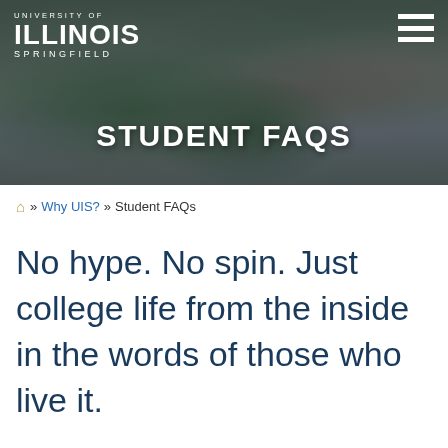[Figure (photo): Aerial photo of University of Illinois Springfield campus with green lawns, trees, and buildings, overlaid with dark tint. Contains UIS logo top-left (UNIVERSITY OF / ILLINOIS / SPRINGFIELD) and hamburger menu icon top-right.]
STUDENT FAQS
🏠 » Why UIS? » Student FAQs
No hype. No spin. Just college life from the inside in the words of those who live it.